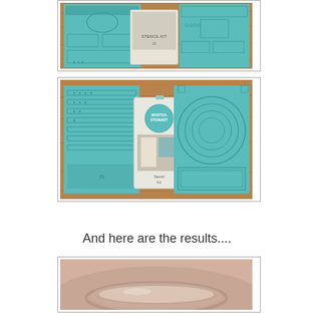[Figure (photo): Photo of Martha Stewart stencil kit spread out on wooden table showing teal/turquoise stencil sheets with decorative patterns, packaging visible in center]
[Figure (photo): Photo of Martha Stewart stencil kit showing two teal stencil sheets laid flat on wooden surface with packaging propped between them, showing circular and border stencil designs]
And here are the results....
[Figure (photo): Close-up photo of a ceramic or clay bowl/dish showing result of stenciling project, neutral pinkish-beige tones]